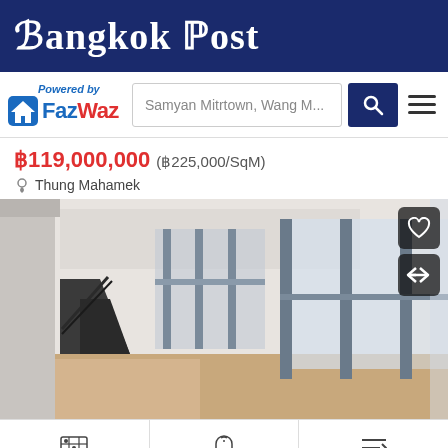Bangkok Post
[Figure (logo): FazWaz logo with house icon and 'Powered by FazWaz' text in blue and red]
Samyan Mitrtown, Wang M...
฿119,000,000 (฿225,000/SqM)
Thung Mahamek
[Figure (photo): Interior of a large empty modern apartment/penthouse with floor-to-ceiling windows, white walls, wooden flooring and a black staircase]
Show Map
Save Search
Sort
See All